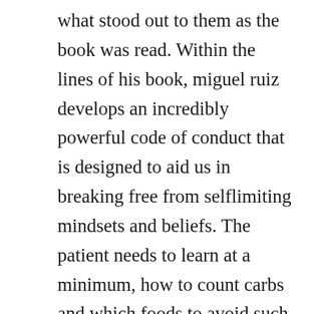what stood out to them as the book was read. Within the lines of his book, miguel ruiz develops an incredibly powerful code of conduct that is designed to aid us in breaking free from selflimiting mindsets and beliefs. The patient needs to learn at a minimum, how to count carbs and which foods to avoid such as beer.
We need our students to feel safe, and they cant feel safe in a school full of guns. A school that provides the one constant in homeless. To support and supplement the